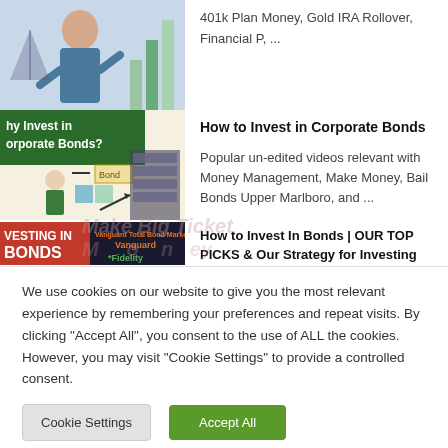[Figure (screenshot): Thumbnail image of a financial video about 401k Plan Money, Gold IRA Rollover with decorative bar chart and person]
401k Plan Money, Gold IRA Rollover, Financial P, ...
[Figure (screenshot): Thumbnail showing 'Why Invest in Corporate Bonds?' with a figure and Bond label]
How to Invest in Corporate Bonds
Popular un-edited videos relevant with Money Management, Make Money, Bail Bonds Upper Marlboro, and ...
[Figure (screenshot): Thumbnail showing 'INVESTING IN BONDS' with Vanguard and Fidelity logos]
How to Invest In Bonds | OUR TOP PICKS & Our Strategy for Investing
We use cookies on our website to give you the most relevant experience by remembering your preferences and repeat visits. By clicking "Accept All", you consent to the use of ALL the cookies. However, you may visit "Cookie Settings" to provide a controlled consent.